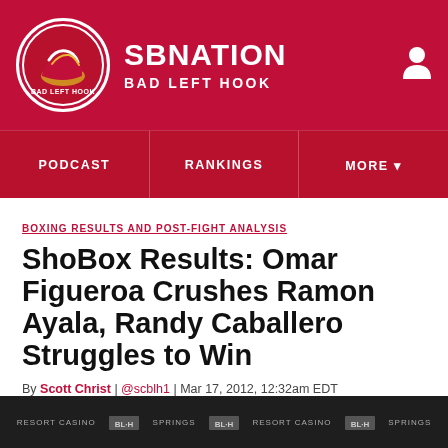SB NATION | BAD LEFT HOOK
PODCAST | RANKINGS | MORE
BOXING RESULTS AND POST-FIGHT ANALYSIS
ShoBox Results: Omar Figueroa Crushes Ramon Ayala, Randy Caballero Struggles to Win
By Scott Christ | @scblh1 | Mar 17, 2012, 12:32am EDT
SHARE